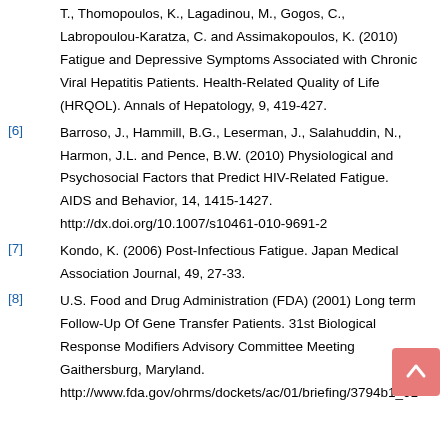T., Thomopoulos, K., Lagadinou, M., Gogos, C., Labropoulou-Karatza, C. and Assimakopoulos, K. (2010) Fatigue and Depressive Symptoms Associated with Chronic Viral Hepatitis Patients. Health-Related Quality of Life (HRQOL). Annals of Hepatology, 9, 419-427.
[6] Barroso, J., Hammill, B.G., Leserman, J., Salahuddin, N., Harmon, J.L. and Pence, B.W. (2010) Physiological and Psychosocial Factors that Predict HIV-Related Fatigue. AIDS and Behavior, 14, 1415-1427. http://dx.doi.org/10.1007/s10461-010-9691-2
[7] Kondo, K. (2006) Post-Infectious Fatigue. Japan Medical Association Journal, 49, 27-33.
[8] U.S. Food and Drug Administration (FDA) (2001) Long term Follow-Up Of Gene Transfer Patients. 31st Biological Response Modifiers Advisory Committee Meeting Gaithersburg, Maryland. http://www.fda.gov/ohrms/dockets/ac/01/briefing/3794b1_01...